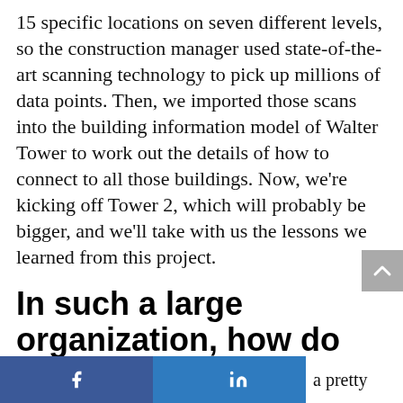15 specific locations on seven different levels, so the construction manager used state-of-the-art scanning technology to pick up millions of data points. Then, we imported those scans into the building information model of Walter Tower to work out the details of how to connect to all those buildings. Now, we're kicking off Tower 2, which will probably be bigger, and we'll take with us the lessons we learned from this project.
In such a large organization, how do you encourage your team to innovate and take risks?